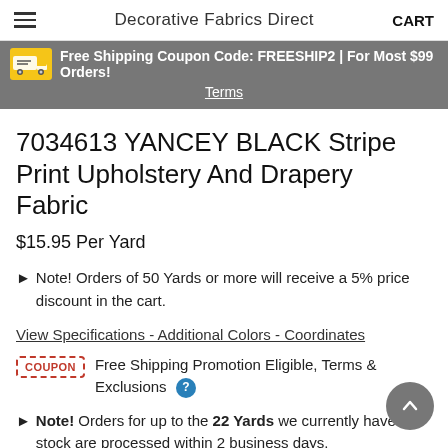Decorative Fabrics Direct  CART
Free Shipping Coupon Code: FREESHIP2 | For Most $99 Orders! Terms
7034613 YANCEY BLACK Stripe Print Upholstery And Drapery Fabric
$15.95 Per Yard
Note! Orders of 50 Yards or more will receive a 5% price discount in the cart.
View Specifications - Additional Colors - Coordinates
Free Shipping Promotion Eligible, Terms & Exclusions
Note! Orders for up to the 22 Yards we currently have in stock are processed within 2 business days.